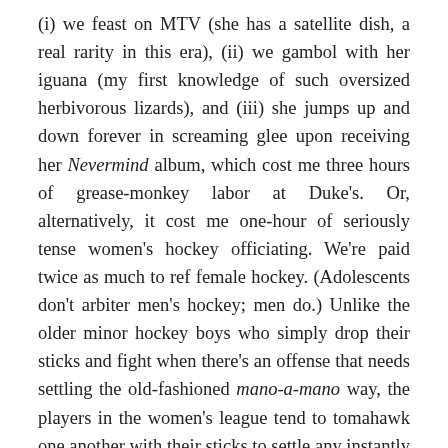(i) we feast on MTV (she has a satellite dish, a real rarity in this era), (ii) we gambol with her iguana (my first knowledge of such oversized herbivorous lizards), and (iii) she jumps up and down forever in screaming glee upon receiving her Nevermind album, which cost me three hours of grease-monkey labor at Duke's. Or, alternatively, it cost me one-hour of seriously tense women's hockey officiating. We're paid twice as much to ref female hockey. (Adolescents don't arbiter men's hockey; men do.) Unlike the older minor hockey boys who simply drop their sticks and fight when there's an offense that needs settling the old-fashioned mano-a-mano way, the players in the women's league tend to tomahawk one another with their sticks to settle any instantly outstanding infractions. As a co-arbitrator of such occurrences, one must be vigilant and nimble and